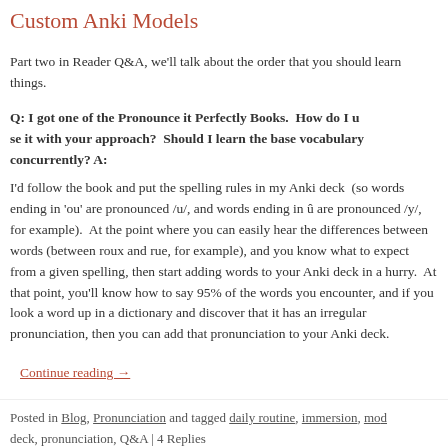Custom Anki Models
Part two in Reader Q&A, we'll talk about the order that you should learn things.
Q: I got one of the Pronounce it Perfectly Books.  How do I use it with your approach?  Should I learn the base vocabulary concurrently? A: I'd follow the book and put the spelling rules in my Anki deck  (so words ending in 'ou' are pronounced /u/, and words ending in û are pronounced /y/, for example).  At the point where you can easily hear the differences between words (between roux and rue, for example), and you know what to expect from a given spelling, then start adding words to your Anki deck in a hurry.  At that point, you'll know how to say 95% of the words you encounter, and if you look a word up in a dictionary and discover that it has an irregular pronunciation, then you can add that pronunciation to your Anki deck.
Continue reading →
Posted in Blog, Pronunciation and tagged daily routine, immersion, mod… deck, pronunciation, Q&A | 4 Replies